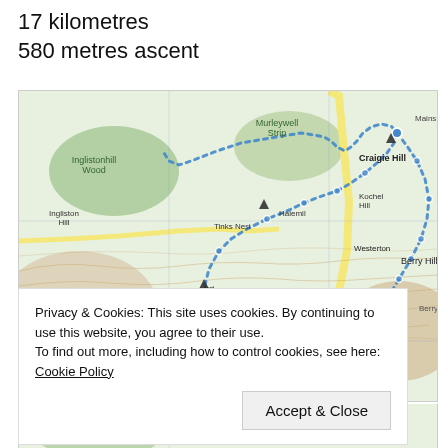17 kilometres
580 metres ascent
[Figure (map): Topographic map showing a walking route (dotted blue line) through Denoon Glen area in Scotland, passing through landmarks including Denoon Law, Craigie Hill, Berry Hillock, Westerton, Tinks Nest, Castleward, Easter Denoon, Inglistonhill Wood, and Murleywell Strip. The route is marked with blue dots forming a loop.]
Privacy & Cookies: This site uses cookies. By continuing to use this website, you agree to their use.
To find out more, including how to control cookies, see here: Cookie Policy
Accept & Close